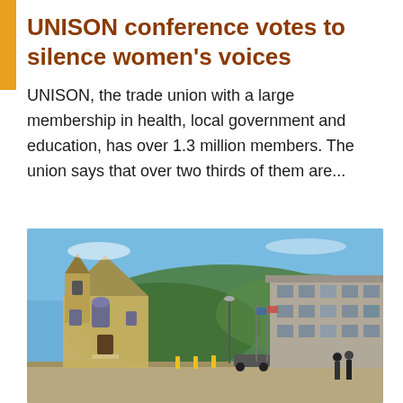UNISON conference votes to silence women's voices
UNISON, the trade union with a large membership in health, local government and education, has over 1.3 million members. The union says that over two thirds of them are...
[Figure (photo): Outdoor photograph showing a historic stone church on the left and a modern concrete building on the right, with a blue sky and green hills in the background, taken from a plaza or street level.]